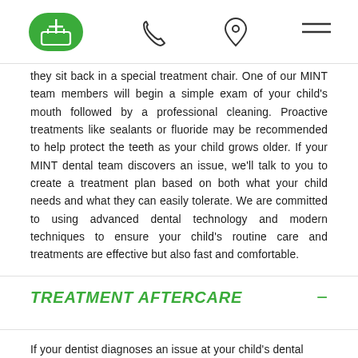[Navigation bar with appointment button, phone icon, location icon, menu icon]
they sit back in a special treatment chair. One of our MINT team members will begin a simple exam of your child's mouth followed by a professional cleaning. Proactive treatments like sealants or fluoride may be recommended to help protect the teeth as your child grows older. If your MINT dental team discovers an issue, we'll talk to you to create a treatment plan based on both what your child needs and what they can easily tolerate. We are committed to using advanced dental technology and modern techniques to ensure your child's routine care and treatments are effective but also fast and comfortable.
TREATMENT AFTERCARE
If your dentist diagnoses an issue at your child's dental